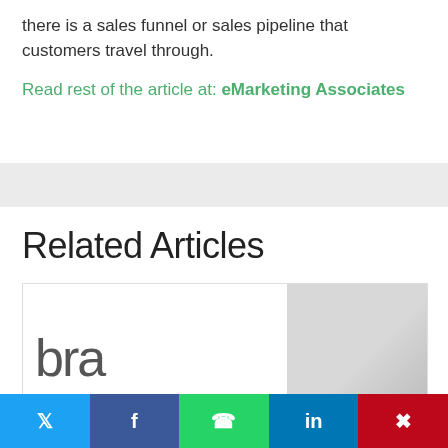there is a sales funnel or sales pipeline that customers travel through.
Read rest of the article at: eMarketing Associates
Related Articles
[Figure (logo): Article card with 'bra' partial logo text on left and grey placeholder image on right]